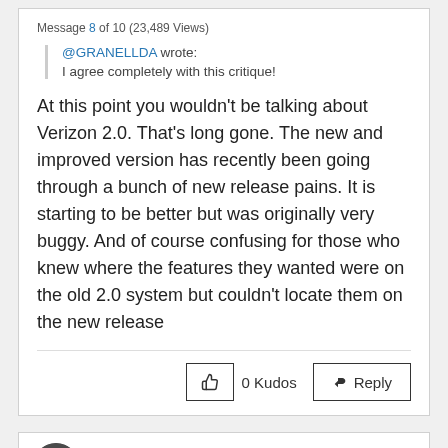Message 8 of 10 (23,489 Views)
@GRANELLDA wrote: I agree completely with this critique!
At this point you wouldn't be talking about Verizon 2.0.  That's long gone.  The new and improved version has recently been going through a bunch of new release pains.  It is starting to be better but was originally very buggy.  And of course confusing for those who knew where the features they wanted were on the old 2.0 system but couldn't locate them on the new release
0 Kudos
Reply